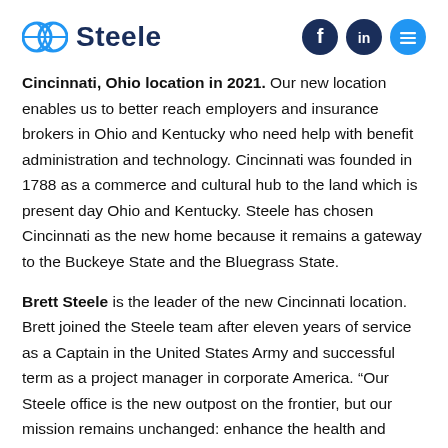Steele
Cincinnati, Ohio location in 2021. Our new location enables us to better reach employers and insurance brokers in Ohio and Kentucky who need help with benefit administration and technology. Cincinnati was founded in 1788 as a commerce and cultural hub to the land which is present day Ohio and Kentucky. Steele has chosen Cincinnati as the new home because it remains a gateway to the Buckeye State and the Bluegrass State.
Brett Steele is the leader of the new Cincinnati location. Brett joined the Steele team after eleven years of service as a Captain in the United States Army and successful term as a project manager in corporate America. “Our Steele office is the new outpost on the frontier, but our mission remains unchanged: enhance the health and wellbeing of American families by enabling people to